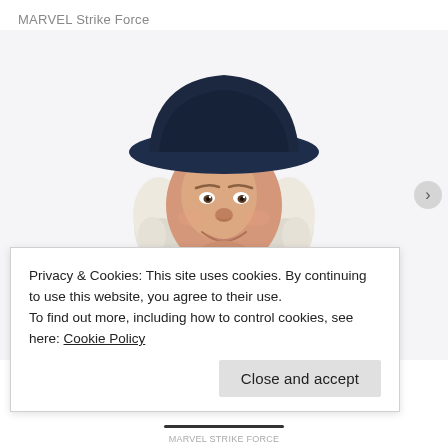MARVEL Strike Force
[Figure (illustration): Illustrated portrait of the Quaker Oats man: a smiling colonial-era gentleman with white curly hair, wearing a dark navy blue wide-brimmed hat and dark coat with white ruffled neckerchief, shown from chest up on a white/light grey background.]
Privacy & Cookies: This site uses cookies. By continuing to use this website, you agree to their use.
To find out more, including how to control cookies, see here: Cookie Policy
Close and accept